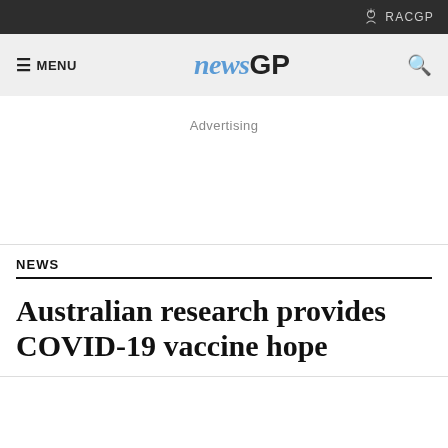RACGP
≡ MENU  newsGP  🔍
Advertising
NEWS
Australian research provides COVID-19 vaccine hope